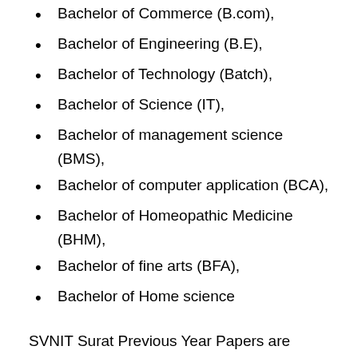Bachelor of Commerce (B.com),
Bachelor of Engineering (B.E),
Bachelor of Technology (Batch),
Bachelor of Science (IT),
Bachelor of management science (BMS),
Bachelor of computer application (BCA),
Bachelor of Homeopathic Medicine (BHM),
Bachelor of fine arts (BFA),
Bachelor of Home science
SVNIT Surat Previous Year Papers are available for download for free. You can download Sardar Vallabhbhai National Institute of Technology Surat Previous Year Solved Question Paper here for free. These Sardar Vallabhbhai National Institute